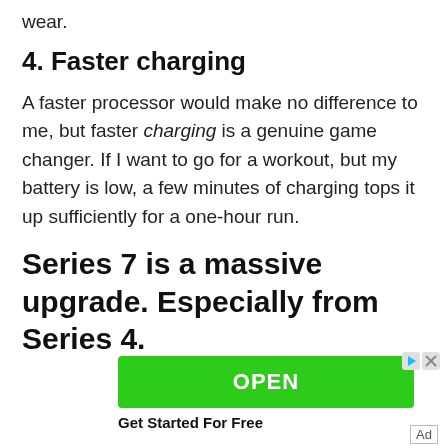wear.
4. Faster charging
A faster processor would make no difference to me, but faster charging is a genuine game changer. If I want to go for a workout, but my battery is low, a few minutes of charging tops it up sufficiently for a one-hour run.
Series 7 is a massive upgrade. Especially from Series 4.
The new features in Series 7 represent a massive
[Figure (other): Advertisement banner with green OPEN button and 'Get Started For Free' text. Includes ad icons (play/close) in top right corner and an 'Ad' label in bottom right.]